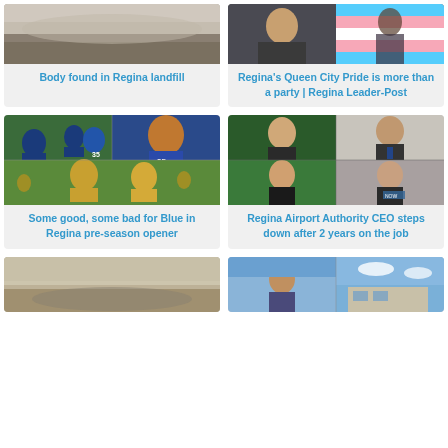[Figure (photo): Aerial/landscape photo - Regina landfill scene with hazy conditions]
Body found in Regina landfill
[Figure (photo): People at Pride event with transgender flag visible]
Regina's Queen City Pride is more than a party | Regina Leader-Post
[Figure (photo): Collage of CFL football players in blue and gold uniforms during a pre-season game]
Some good, some bad for Blue in Regina pre-season opener
[Figure (photo): Collage of four men in suits - Regina Airport Authority CEO and related figures]
Regina Airport Authority CEO steps down after 2 years on the job
[Figure (photo): Landscape/plains aerial photo]
[Figure (photo): Collage of a person and a building/facility exterior]